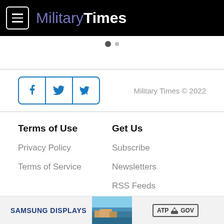[Figure (logo): MilitaryTimes logo with hamburger menu icon on black navigation bar]
[Figure (other): Carousel pagination dots - one filled dark dot and one smaller lighter dot]
Military Times © 2022
Terms of Use
Get Us
Privacy Policy
Subscribe
Terms of Service
Newsletters
RSS Feeds
[Figure (other): Advertisement banner with SAMSUNG DISPLAYS text, a scenic image, and ATP GOV logo]